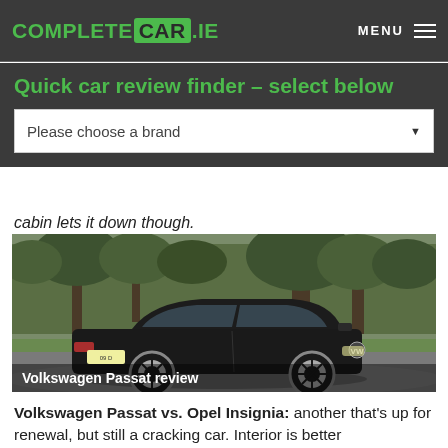COMPLETECAR.IE   MENU
Quick car review finder – select below
Please choose a brand
cabin lets it down though.
[Figure (photo): Black Volkswagen Passat sedan parked on a driveway with trees in the background]
Volkswagen Passat review
Volkswagen Passat vs. Opel Insignia: another that's up for renewal, but still a cracking car. Interior is better